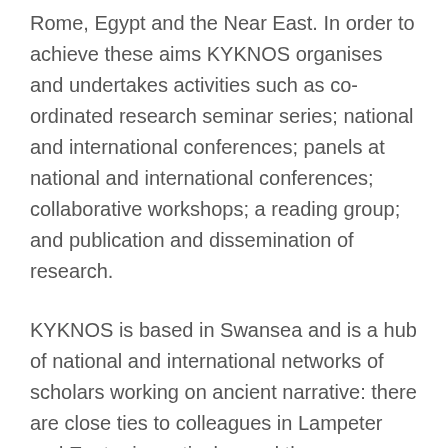Rome, Egypt and the Near East. In order to achieve these aims KYKNOS organises and undertakes activities such as co-ordinated research seminar series; national and international conferences; panels at national and international conferences; collaborative workshops; a reading group; and publication and dissemination of research.
KYKNOS is based in Swansea and is a hub of national and international networks of scholars working on ancient narrative: there are close ties to colleagues in Lampeter and Exeter in particular, and there are associate members throughout the UK, Europe, the USA, and in Japan, South Africa, and Israel.